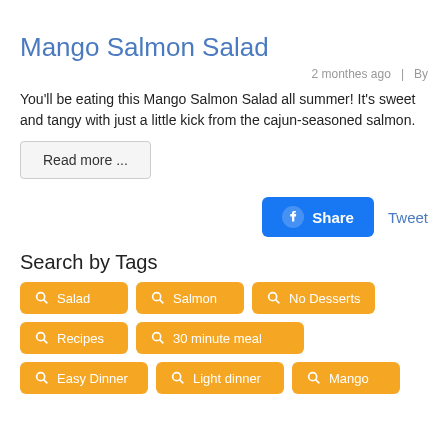Mango Salmon Salad
2 monthes ago  |  By
You'll be eating this Mango Salmon Salad all summer! It's sweet and tangy with just a little kick from the cajun-seasoned salmon.
Read more ...
Share  Tweet
Search by Tags
Salad
Salmon
No Desserts
Recipes
30 minute meal
Easy Dinner
Light dinner
Mango